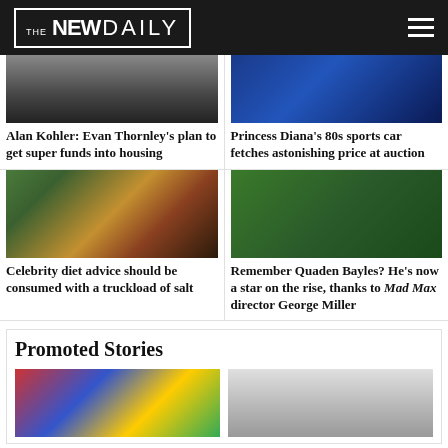THE NEW DAILY
[Figure (photo): Person in dark suit holding paper]
Alan Kohler: Evan Thornley's plan to get super funds into housing
[Figure (photo): Blue sports car close-up]
Princess Diana's 80s sports car fetches astonishing price at auction
[Figure (photo): Colorful food bowl with avocado, banana, berries and fork]
Celebrity diet advice should be consumed with a truckload of salt
[Figure (photo): Young boy smiling outdoors in blue t-shirt]
Remember Quaden Bayles? He's now a star on the rise, thanks to Mad Max director George Miller
Promoted Stories
[Figure (photo): Colored pencils and art supplies on desk]
[Figure (photo): Person wearing cowboy hat]